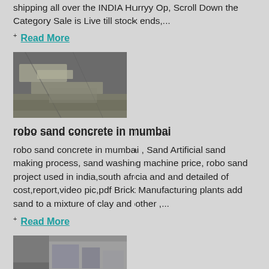shipping all over the INDIA Hurryy Op, Scroll Down the Category Sale is Live till stock ends,...
+ Read More
[Figure (photo): Close-up photo of sand/concrete material, appears to be robo sand or similar construction aggregate]
robo sand concrete in mumbai
robo sand concrete in mumbai , Sand Artificial sand making process, sand washing machine price, robo sand project used in india,south afrcia and and detailed of cost,report,video pic,pdf Brick Manufacturing plants add sand to a mixture of clay and other ,...
+ Read More
[Figure (photo): Photo showing a building interior or exterior with a view through a window/opening, appears to show industrial or construction site]